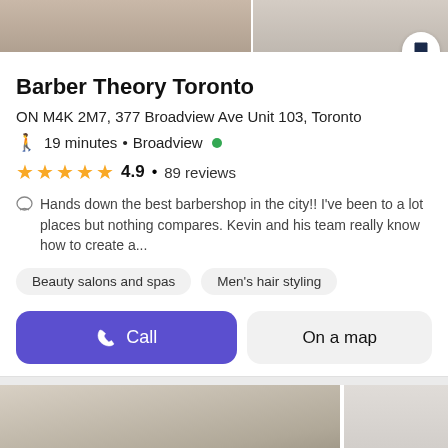[Figure (photo): Top photos strip of barber shop / person, with bookmark button overlay]
Barber Theory Toronto
ON M4K 2M7, 377 Broadview Ave Unit 103, Toronto
🚶 19 minutes • Broadview ●
★★★★★ 4.9 • 89 reviews
Hands down the best barbershop in the city!! I've been to a lot places but nothing compares. Kevin and his team really know how to create a...
Beauty salons and spas
Men's hair styling
Call
On a map
[Figure (photo): Bottom photo of barbershop interior showing hanging pendant lights and modern decor]